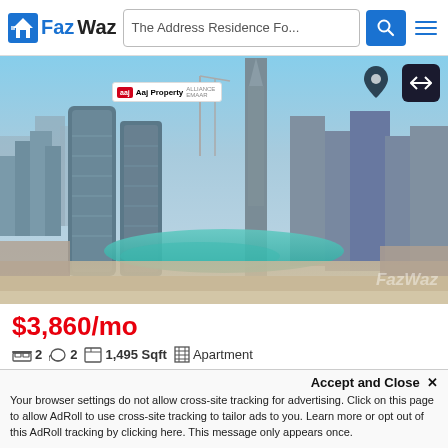FazWaz — The Address Residence Fo...
[Figure (photo): Aerial view of Dubai downtown skyline with skyscrapers including Burj Khalifa, turquoise fountain pool, and urban buildings. Aaj Property agency branding visible.]
$3,860/mo
2  2  1,495 Sqft  Apartment
The Address Residence Fountain Views 1
The Address Residence Fountain Views
Accept and Close ✕
Your browser settings do not allow cross-site tracking for advertising. Click on this page to allow AdRoll to use cross-site tracking to tailor ads to you. Learn more or opt out of this AdRoll tracking by clicking here. This message only appears once.